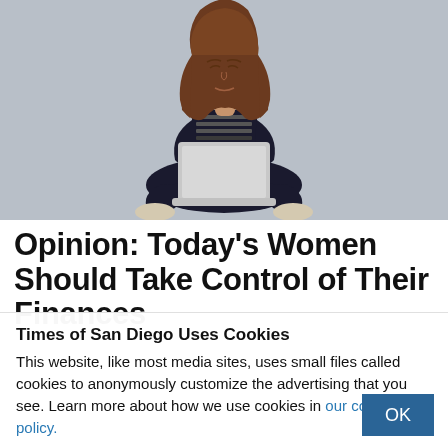[Figure (photo): A young woman with long brown hair sitting cross-legged on a light gray background, looking down at a silver laptop computer on her lap. She is wearing a black and white patterned top and black pants with white shoes.]
Opinion: Today's Women Should Take Control of Their Finances
Times of San Diego Uses Cookies
This website, like most media sites, uses small files called cookies to anonymously customize the advertising that you see. Learn more about how we use cookies in our cookie policy.